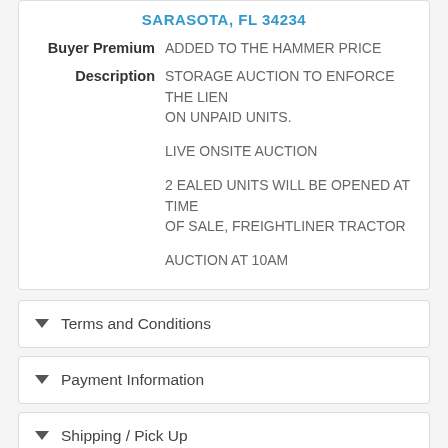SARASOTA, FL 34234
Buyer Premium ADDED TO THE HAMMER PRICE
Description STORAGE AUCTION TO ENFORCE THE LIEN ON UNPAID UNITS.

LIVE ONSITE AUCTION

2 EALED UNITS WILL BE OPENED AT TIME OF SALE, FREIGHTLINER TRACTOR

AUCTION AT 10AM
Terms and Conditions
Payment Information
Shipping / Pick Up